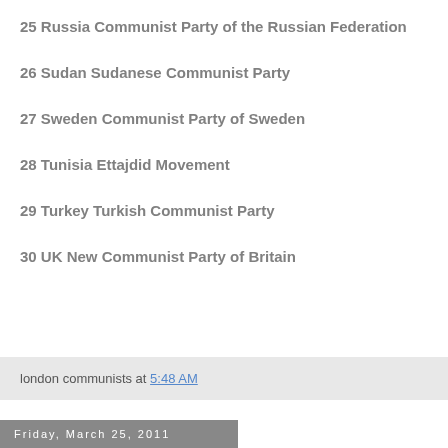25 Russia Communist Party of the Russian Federation
26 Sudan Sudanese Communist Party
27 Sweden Communist Party of Sweden
28 Tunisia Ettajdid Movement
29 Turkey Turkish Communist Party
30 UK New Communist Party of Britain
london communists at 5:48 AM
Friday, March 25, 2011